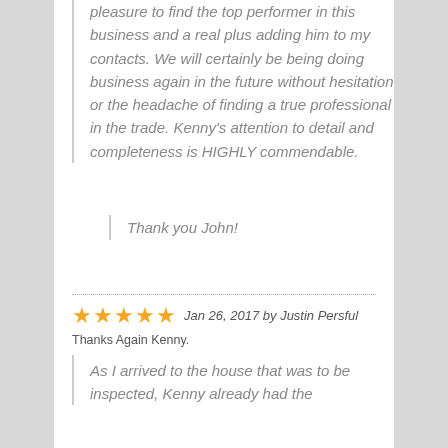pleasure to find the top performer in this business and a real plus adding him to my contacts. We will certainly be being doing business again in the future without hesitation or the headache of finding a true professional in the trade. Kenny's attention to detail and completeness is HIGHLY commendable.
Thank you John!
Jan 26, 2017 by Justin Persful
Thanks Again Kenny.
As I arrived to the house that was to be inspected, Kenny already had the